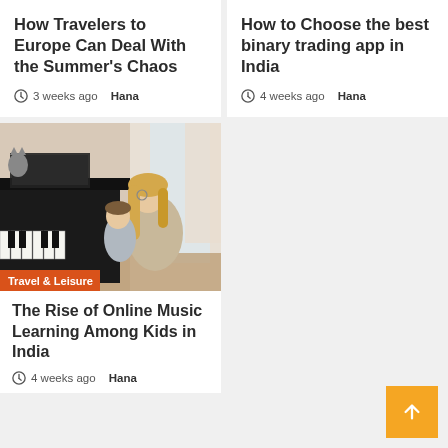How Travelers to Europe Can Deal With the Summer's Chaos
3 weeks ago  Hana
How to Choose the best binary trading app in India
4 weeks ago  Hana
[Figure (photo): Woman with blonde hair sitting next to a young child at a piano keyboard, indoor home setting with soft window light. Category badge reading 'Travel & Leisure' overlaid at bottom left.]
The Rise of Online Music Learning Among Kids in India
4 weeks ago  Hana